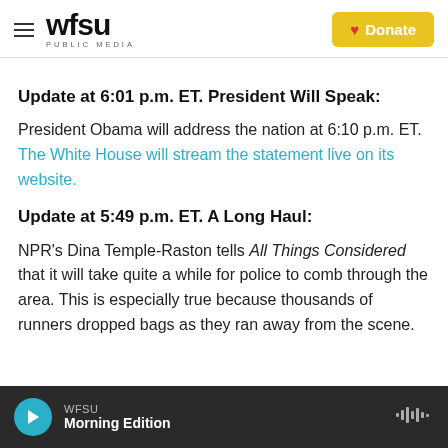WFSU PUBLIC MEDIA — Donate
Update at 6:01 p.m. ET. President Will Speak:
President Obama will address the nation at 6:10 p.m. ET. The White House will stream the statement live on its website.
Update at 5:49 p.m. ET. A Long Haul:
NPR's Dina Temple-Raston tells All Things Considered that it will take quite a while for police to comb through the area. This is especially true because thousands of runners dropped bags as they ran away from the scene.
WFSU Morning Edition